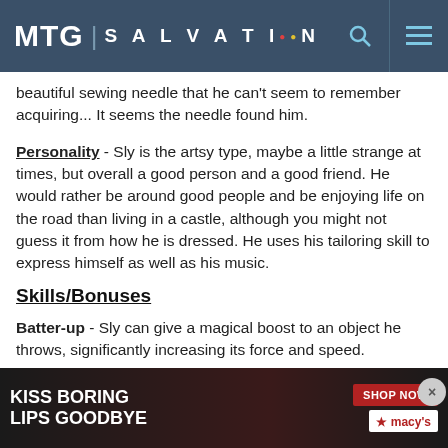MTG | SALVATION
beautiful sewing needle that he can't seem to remember acquiring... It seems the needle found him.
Personality - Sly is the artsy type, maybe a little strange at times, but overall a good person and a good friend. He would rather be around good people and be enjoying life on the road than living in a castle, although you might not guess it from how he is dressed. He uses his tailoring skill to express himself as well as his music.
Skills/Bonuses
Batter-up - Sly can give a magical boost to an object he throws, significantly increasing its force and speed.
The Eye of the Beholder(Relic of Legend) - A sewing ne... th...
[Figure (photo): Advertisement banner for Macy's lipstick with text KISS BORING LIPS GOODBYE and SHOP NOW button]